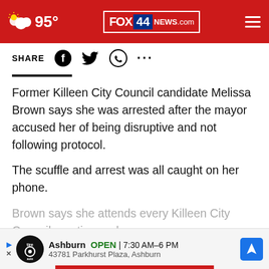95° FOX 44 NEWS.com
SHARE
Former Killeen City Council candidate Melissa Brown says she was arrested after the mayor accused her of being disruptive and not following protocol.
The scuffle and arrest was all caught on her phone.
Brown says she attends every Killeen City Council meeting and r... community
[Figure (screenshot): CONTINUE READING overlay button in red, with X close button]
[Figure (screenshot): Tire Auto ad banner: Ashburn OPEN 7:30AM-6PM, 43781 Parkhurst Plaza, Ashburn]